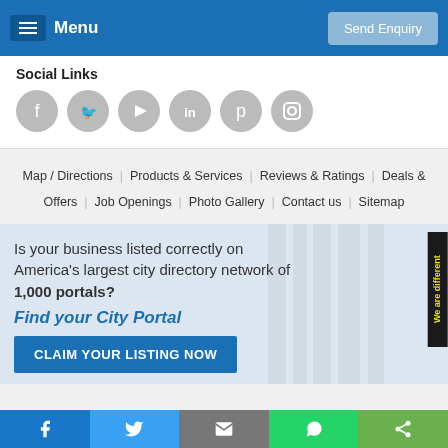Menu | Send Enquiry
Social Links
[Figure (infographic): Six social media icons (Facebook, Twitter, YouTube, LinkedIn, Pinterest, Instagram) as grey circles]
Map / Directions | Products & Services | Reviews & Ratings | Deals & Offers | Job Openings | Photo Gallery | Contact us | Sitemap
Is your business listed correctly on America’s largest city directory network of 1,000 portals?
Find your City Portal
CLAIM YOUR LISTING NOW
Share bar: Facebook, Twitter, Email, WhatsApp, Share